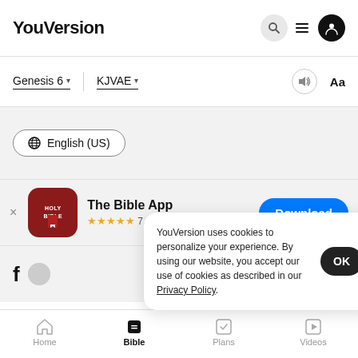YouVersion
Genesis 6 ▾   KJVAE ▾
⊕ English (US)
[Figure (screenshot): The Bible App icon — dark red rounded square with HOLY BIBLE text and bookmark]
The Bible App ★★★★★ 7.9M
Download
YouVersion uses cookies to personalize your experience. By using our website, you accept our use of cookies as described in our Privacy Policy.
OK
Home   Bible   Plans   Videos